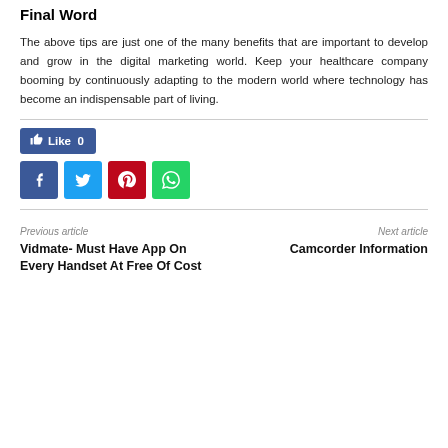Final Word
The above tips are just one of the many benefits that are important to develop and grow in the digital marketing world. Keep your healthcare company booming by continuously adapting to the modern world where technology has become an indispensable part of living.
[Figure (infographic): Facebook Like button showing Like 0, followed by four social media share buttons: Facebook (dark blue), Twitter (light blue), Pinterest (red), WhatsApp (green)]
Previous article
Vidmate- Must Have App On Every Handset At Free Of Cost
Next article
Camcorder Information